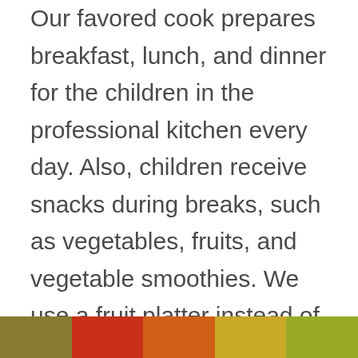Our favored cook prepares breakfast, lunch, and dinner for the children in the professional kitchen every day. Also, children receive snacks during breaks, such as vegetables, fruits, and vegetable smoothies. We use a fruit platter instead of festive cakes. We cook from organic products only, according to the tastes and needs of children. We pay special attention to children who are allergic or intolerant to certain products - we cook separately for them. An example of a two-week menu can be found below.
[Figure (photo): A horizontal strip of food images at the bottom of the page showing various colorful foods and fruits.]